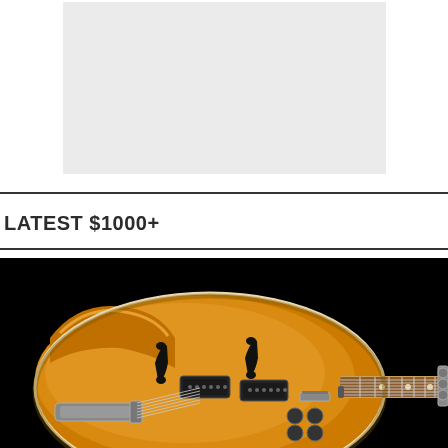[Figure (photo): Gray placeholder rectangle for an image at the top of the page]
LATEST $1000+
[Figure (photo): Photo of an orange hollow-body electric guitar (Gretsch style) against a black background, showing the body and part of the neck with tuning pegs on the right]